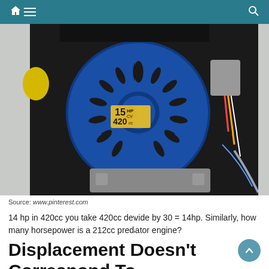Navigation bar with home, menu, and search icons
[Figure (photo): Close-up photo of a blue small engine recoil starter housing labeled '15 HP CV 420cc', with wiring, components, and metal engine body visible]
Source: www.pinterest.com
14 hp in 420cc you take 420cc devide by 30 = 14hp. Similarly, how many horsepower is a 212cc predator engine?
Displacement Doesn't Correspond To Horsepower.